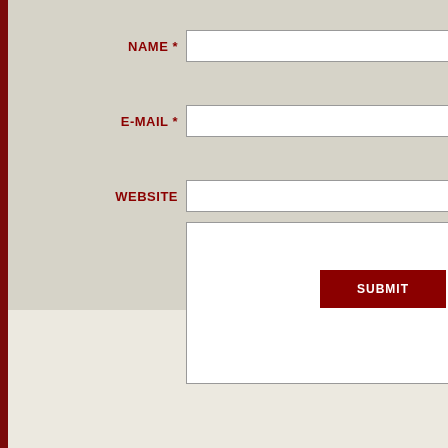[Figure (screenshot): A web contact form with fields for NAME, E-MAIL, WEBSITE, a text area, and a SUBMIT button. The form has a light gray background panel with dark red label text. A dark red vertical border runs along the left edge.]